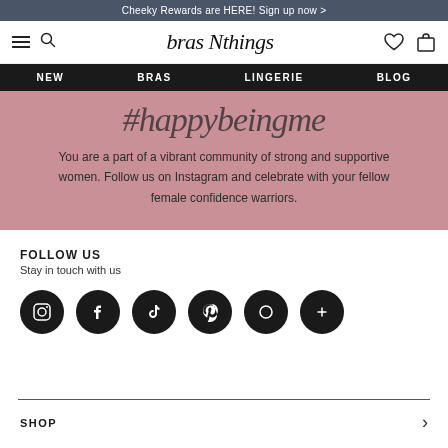Cheeky Rewards are HERE! Sign up now >
[Figure (logo): bras N things logo with navigation icons (hamburger, search, heart, bag)]
NEW  BRAS  LINGERIE  BLOG
#happybeingme
You are a part of a vibrant community of strong and supportive women. Follow us on Instagram and celebrate with your fellow female confidence warriors.
FOLLOW US
Stay in touch with us
[Figure (infographic): Six dark circular social media icons: Instagram, Facebook, TikTok, Pinterest, and two others]
SHOP